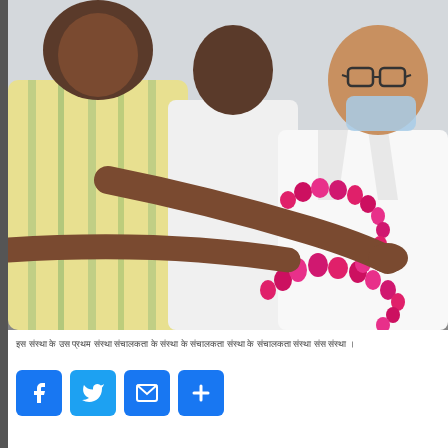[Figure (photo): Two people embracing, one wearing a yellow-green striped kurta and the other wearing a white suit with a pink flower garland (mala). A person in the background wears a blue face mask.]
इस संस्था के उस प्रथम संस्था संचालकता के संस्था के संचालकता संस्था के संचालकता संस्था संस संस्था ।
[Figure (infographic): Social share buttons: Facebook, Twitter, Email, More (+)]